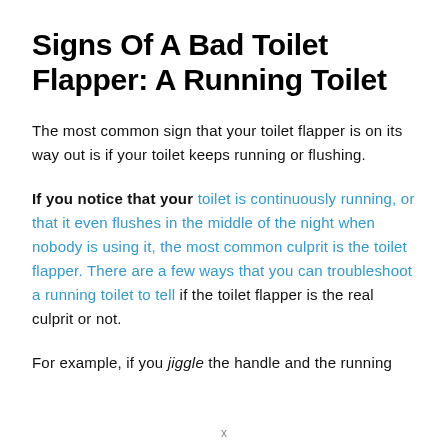Signs Of A Bad Toilet Flapper: A Running Toilet
The most common sign that your toilet flapper is on its way out is if your toilet keeps running or flushing.
If you notice that your toilet is continuously running, or that it even flushes in the middle of the night when nobody is using it, the most common culprit is the toilet flapper. There are a few ways that you can troubleshoot a running toilet to tell if the toilet flapper is the real culprit or not.
For example, if you jiggle the handle and the running
x